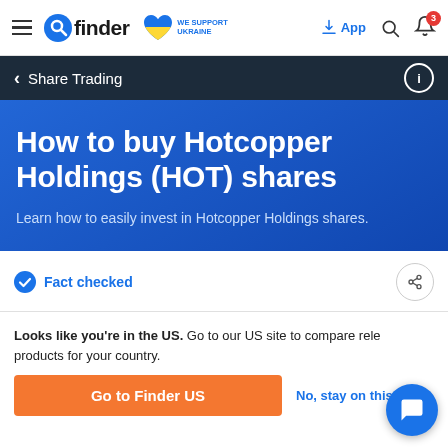finder — We Support Ukraine | App | Search | Notifications (3)
< Share Trading
How to buy Hotcopper Holdings (HOT) shares
Learn how to easily invest in Hotcopper Holdings shares.
Fact checked
Looks like you're in the US. Go to our US site to compare relevant products for your country.
Go to Finder US
No, stay on this page